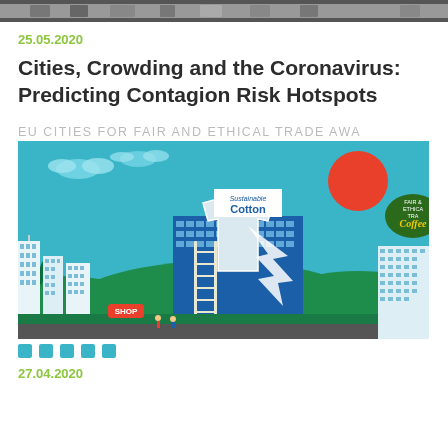[Figure (photo): Top banner image strip showing a crowd or event scene, partially cropped]
25.05.2020
Cities, Crowding and the Coronavirus: Predicting Contagion Risk Hotspots
EU CITIES FOR FAIR AND ETHICAL TRADE AWA
[Figure (illustration): Colorful flat illustration of a city with sustainable cotton building, a red sun, workers with a ladder painting a large t-shirt on a building, mountains, trees, white office buildings, a SHOP sign, and a 'Fair & Ethical Trade Coffee' sign on the right]
27.04.2020